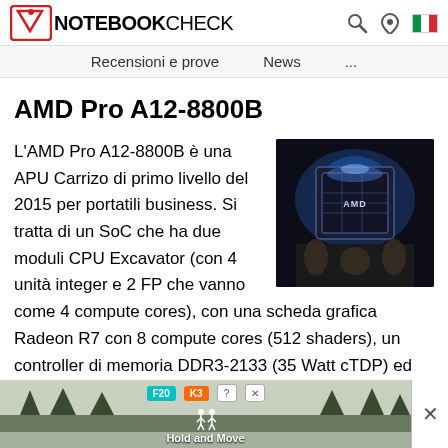NOTEBOOKCHECK — Recensioni e prove   News   ...
AMD Pro A12-8800B
[Figure (photo): AMD processor chip (Carrizo APU) glowing with blue light, viewed from above, with 'AMD' branding visible on the chip surface.]
L'AMD Pro A12-8800B è una APU Carrizo di primo livello del 2015 per portatili business. Si tratta di un SoC che ha due moduli CPU Excavator (con 4 unità integer e 2 FP che vanno come 4 compute cores), con una scheda grafica Radeon R7 con 8 compute cores (512 shaders), un controller di memoria DDR3-2133 (35 Watt cTDP) ed un motore video (che include UVD 6 con decodifica hardware HEVC / H.265). E' simile alla versione consumer, la FX-8800P, ma offre
[Figure (screenshot): Advertisement banner showing a winter outdoor scene with a game/app called 'Hold and Move' with a UI element showing F20 and K3 labels.]